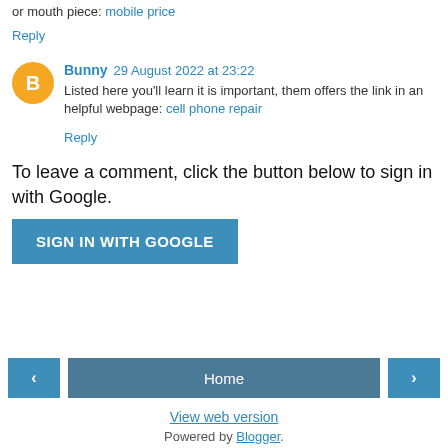or mouth piece: mobile price
Reply
Bunny 29 August 2022 at 23:22
Listed here you'll learn it is important, them offers the link in an helpful webpage: cell phone repair
Reply
To leave a comment, click the button below to sign in with Google.
SIGN IN WITH GOOGLE
Home
View web version
Powered by Blogger.